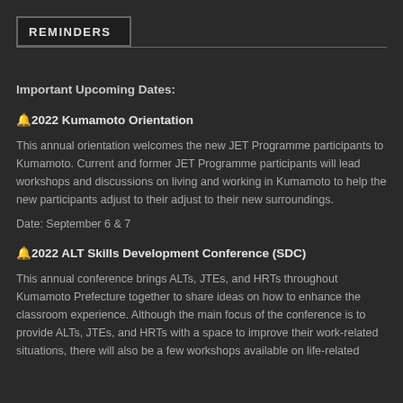REMINDERS
Important Upcoming Dates:
🔔2022 Kumamoto Orientation
This annual orientation welcomes the new JET Programme participants to Kumamoto. Current and former JET Programme participants will lead workshops and discussions on living and working in Kumamoto to help the new participants adjust to their adjust to their new surroundings.
Date: September 6 & 7
🔔2022 ALT Skills Development Conference (SDC)
This annual conference brings ALTs, JTEs, and HRTs throughout Kumamoto Prefecture together to share ideas on how to enhance the classroom experience. Although the main focus of the conference is to provide ALTs, JTEs, and HRTs with a space to improve their work-related situations, there will also be a few workshops available on life-related